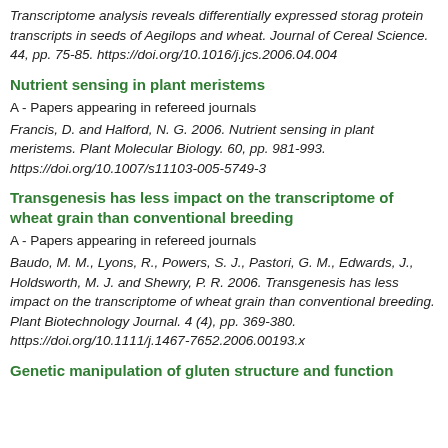Transcriptome analysis reveals differentially expressed storage protein transcripts in seeds of Aegilops and wheat. Journal of Cereal Science. 44, pp. 75-85. https://doi.org/10.1016/j.jcs.2006.04.004
Nutrient sensing in plant meristems
A - Papers appearing in refereed journals
Francis, D. and Halford, N. G. 2006. Nutrient sensing in plant meristems. Plant Molecular Biology. 60, pp. 981-993. https://doi.org/10.1007/s11103-005-5749-3
Transgenesis has less impact on the transcriptome of wheat grain than conventional breeding
A - Papers appearing in refereed journals
Baudo, M. M., Lyons, R., Powers, S. J., Pastori, G. M., Edwards, J., Holdsworth, M. J. and Shewry, P. R. 2006. Transgenesis has less impact on the transcriptome of wheat grain than conventional breeding. Plant Biotechnology Journal. 4 (4), pp. 369-380. https://doi.org/10.1111/j.1467-7652.2006.00193.x
Genetic manipulation of gluten structure and function